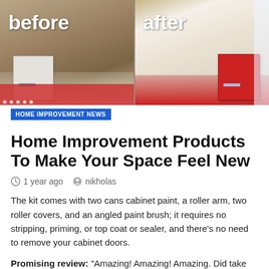[Figure (photo): Before and after comparison photo of kitchen cabinets. Left side shows white cabinet labeled 'before', right side shows red cabinet labeled 'after'.]
HOME IMPROVEMENT NEWS
Home Improvement Products To Make Your Space Feel New
1 year ago   nikholas
The kit comes with two cans cabinet paint, a roller arm, two roller covers, and an angled paint brush; it requires no stripping, priming, or top coat or sealer, and there's no need to remove your cabinet doors.
Promising review: “Amazing! Amazing! Amazing. Did take more than one coat though. My cabinets were bare wood and I still needed a couple of coats. (Five to be exact, but that was it, no big issue at e.) My kitchen is e din...